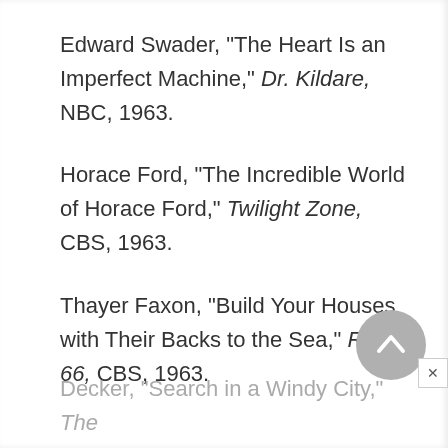Edward Swader, "The Heart Is an Imperfect Machine," Dr. Kildare, NBC, 1963.
Horace Ford, "The Incredible World of Horace Ford," Twilight Zone, CBS, 1963.
Thayer Faxon, "Build Your Houses with Their Backs to the Sea," Route 66, CBS, 1963.
Decker, "Search in a Windy City," The